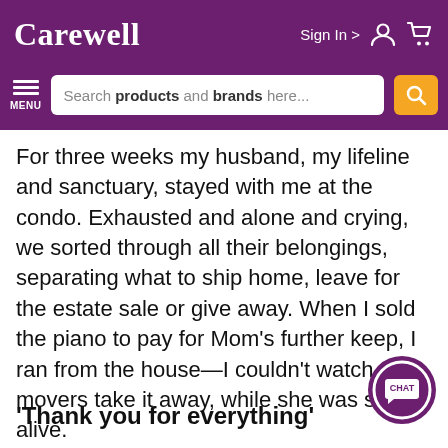Carewell
For three weeks my husband, my lifeline and sanctuary, stayed with me at the condo. Exhausted and alone and crying, we sorted through all their belongings, separating what to ship home, leave for the estate sale or give away. When I sold the piano to pay for Mom’s further keep, I ran from the house—I couldn’t watch the movers take it away, while she was still alive.
‘Thank you for everything’